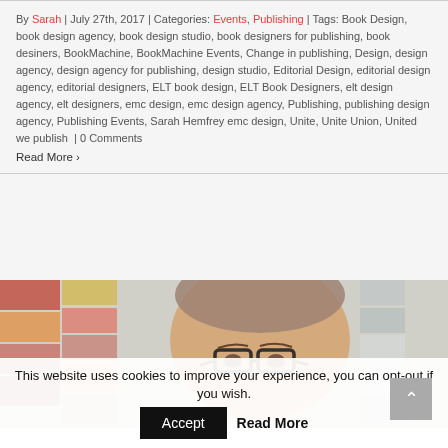By Sarah | July 27th, 2017 | Categories: Events, Publishing | Tags: Book Design, book design agency, book design studio, book designers for publishing, book desiners, BookMachine, BookMachine Events, Change in publishing, Design, design agency, design agency for publishing, design studio, Editorial Design, editorial design agency, editorial designers, ELT book design, ELT Book Designers, elt design agency, elt designers, emc design, emc design agency, Publishing, publishing design agency, Publishing Events, Sarah Hemfrey emc design, Unite, Unite Union, United we publish | 0 Comments
Read More >
[Figure (photo): Cropped photo of a man with glasses, short hair, in front of a colorful wall with book covers or design samples]
This website uses cookies to improve your experience, you can opt-out if you wish. Accept Read More